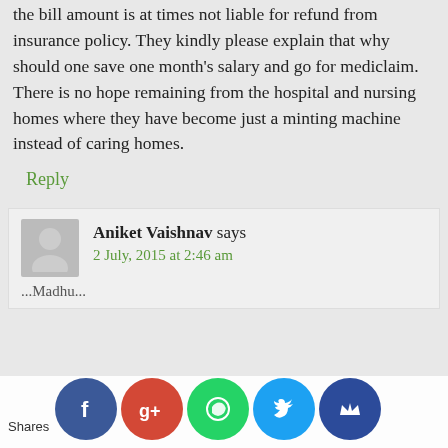the bill amount is at times not liable for refund from insurance policy. They kindly please explain that why should one save one month's salary and go for mediclaim. There is no hope remaining from the hospital and nursing homes where they have become just a minting machine instead of caring homes.
Reply
Aniket Vaishnav says
2 July, 2015 at 2:46 am
Madhu...
Shares | Facebook | Google+ | WhatsApp | Twitter | Other